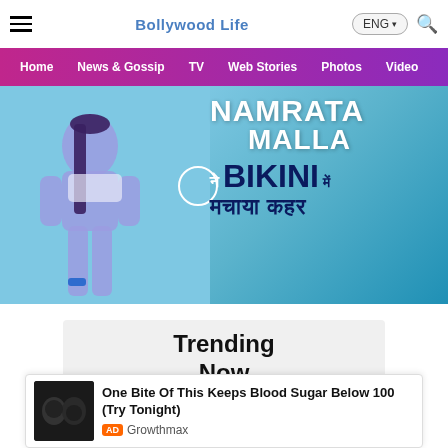Bollywood Life
[Figure (screenshot): Navigation bar with hamburger menu, Bollywood Life logo, ENG language selector and search icon]
[Figure (infographic): Navigation menu bar with gradient purple-pink background containing Home, News & Gossip, TV, Web Stories, Photos, Video links]
[Figure (photo): Hero banner image showing a woman in a bikini on a teal/cyan background with text overlay: NAMRATA MALLA ne BIKINI mein machaaya kahar (in Hindi and English)]
Trending Now
[Figure (photo): Thumbnail image for a trending story]
One Bite Of This Keeps Blood Sugar Below 100 (Try Tonight)
AD Growthmax